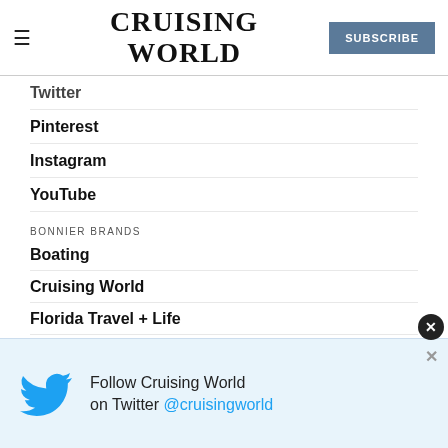CRUISING WORLD | SUBSCRIBE
Twitter
Pinterest
Instagram
YouTube
BONNIER BRANDS
Boating
Cruising World
Florida Travel + Life
Islands
Marlin
Sailing
Salt Water Sportsman
[Figure (infographic): Twitter promotional overlay: Follow Cruising World on Twitter @cruisingworld, with Twitter bird logo]